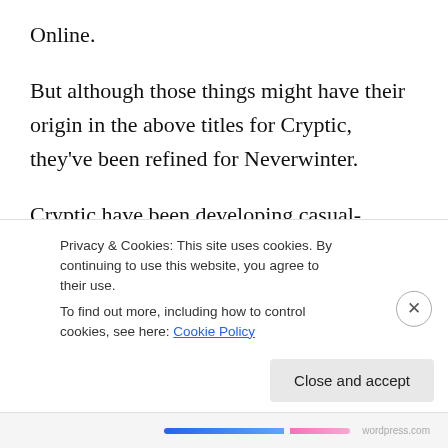Online.
But although those things might have their origin in the above titles for Cryptic, they’ve been refined for Neverwinter.
Cryptic have been developing casual-friendly MMOs for over 10 years and has always used instanced environments to maintain the player experience that the game is about your character (and the team they are with right now, if applicable). Neverwinter isn’t the exception
Privacy & Cookies: This site uses cookies. By continuing to use this website, you agree to their use.
To find out more, including how to control cookies, see here: Cookie Policy
Close and accept